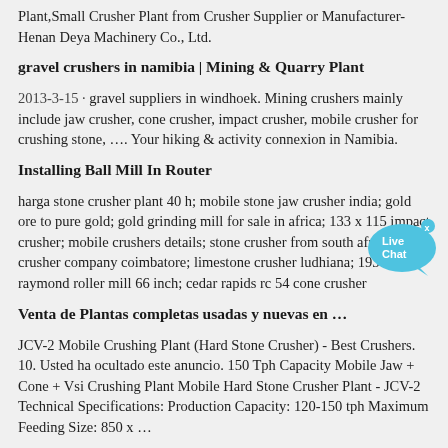Plant,Small Crusher Plant from Crusher Supplier or Manufacturer-Henan Deya Machinery Co., Ltd.
gravel crushers in namibia | Mining & Quarry Plant
2013-3-15 · gravel suppliers in windhoek. Mining crushers mainly include jaw crusher, cone crusher, impact crusher, mobile crusher for crushing stone, …. Your hiking & activity connexion in Namibia.
Installing Ball Mill In Router
harga stone crusher plant 40 h; mobile stone jaw crusher india; gold ore to pure gold; gold grinding mill for sale in africa; 133 x 115 impact crusher; mobile crushers details; stone crusher from south africa; jalli crusher company coimbatore; limestone crusher ludhiana; 1930 raymond roller mill 66 inch; cedar rapids rc 54 cone crusher
Venta de Plantas completas usadas y nuevas en …
JCV-2 Mobile Crushing Plant (Hard Stone Crusher) - Best Crushers. 10. Usted ha ocultado este anuncio. 150 Tph Capacity Mobile Jaw + Cone + Vsi Crushing Plant Mobile Hard Stone Crusher Plant - JCV-2 Technical Specifications: Production Capacity: 120-150 tph Maximum Feeding Size: 850 x …
Stone crushing & screening plant of 250 TPH
Stone crushing plant Flow chart: 250TPH - 280 TPH stone